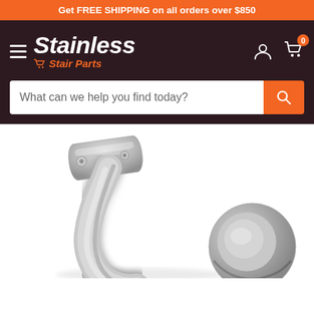Get FREE SHIPPING on all orders over $850
[Figure (logo): Stainless Stair Parts logo with shopping cart icon, hamburger menu, user icon and cart icon with badge 0]
[Figure (other): Search bar with placeholder text 'What can we help you find today?' and orange search button]
[Figure (photo): Close-up photo of a brushed stainless steel handrail bracket with saddle mount plate at top and round post connector at bottom right, on white background]